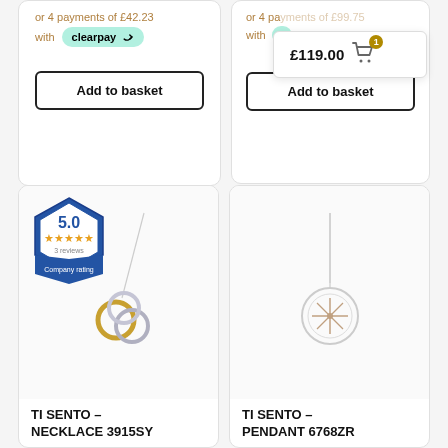or 4 payments of £42.23
with clearpay
Add to basket
or 4 payments of £99.75
with clearpay
£119.00
Add to basket
[Figure (infographic): Company rating badge showing 5.0 stars with 3 reviews]
[Figure (photo): TI SENTO necklace 3915SY - silver and gold interlocking rings pendant on chain]
TI SENTO – NECKLACE 3915SY
[Figure (photo): TI SENTO pendant 6768ZR - star/compass rose pendant on silver chain]
TI SENTO – PENDANT 6768ZR